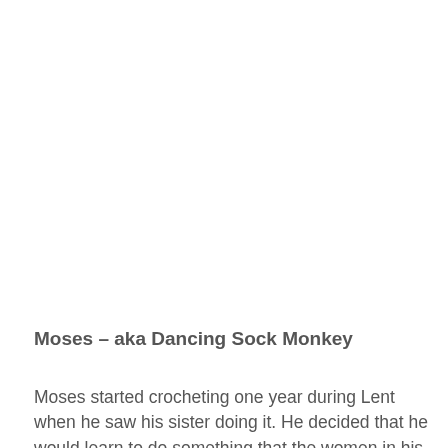Moses – aka Dancing Sock Monkey
Moses started crocheting one year during Lent when he saw his sister doing it. He decided that he would learn to do something that the women in his family have used to